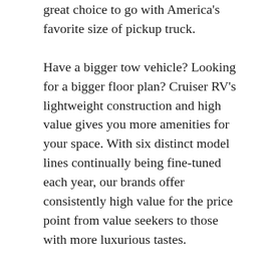great choice to go with America's favorite size of pickup truck.
Have a bigger tow vehicle? Looking for a bigger floor plan? Cruiser RV's lightweight construction and high value gives you more amenities for your space. With six distinct model lines continually being fine-tuned each year, our brands offer consistently high value for the price point from value seekers to those with more luxurious tastes.
Today, Cruiser RV is no longer a small start-up company, but the family work ethic is still a guiding principle for every worker. "It's really about a different mindset and culture.  We're not a suit and tie type of company. We're hard working, extremely efficient and very lean. We don't have meetings about having meetings, we get everyone together to talk it out and then we go execute. We're focused and we keep things as simple as we can. We're pure American made. And that spirit lives in every unit